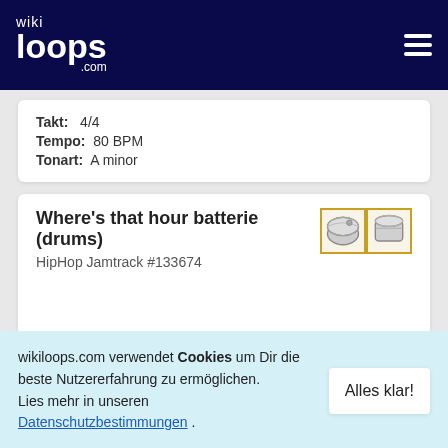wikiloops.com
Takt: 4/4
Tempo: 80 BPM
Tonart: A minor
Where's that hour batterie (drums)
HipHop Jamtrack #133674
Takt: 4/4
Tempo: 89 BPM
Tonart: E minor
Klingt wie: Hip hop, drums, groove, Marcous
wikiloops.com verwendet Cookies um Dir die beste Nutzererfahrung zu ermöglichen. Lies mehr in unseren Datenschutzbestimmungen .